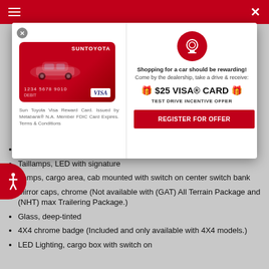Sun Toyota - Navigation and close buttons
[Figure (screenshot): Sun Toyota Visa Reward Card image - red debit card with car silhouette and VISA logo]
Sun Toyota Visa Reward Card. Issued by Metabank® N.A. Member FDIC. Card Expires. Terms & Conditions
[Figure (illustration): Red circular icon with steering wheel/reward symbol]
Shopping for a car should be rewarding! Come by the dealership, take a drive & receive:
🎁 $25 VISA® CARD 🎁
TEST DRIVE INCENTIVE OFFER
REGISTER FOR OFFER
Fog lamps, thin profile LED
Taillamps, LED with signature
Lamps, cargo area, cab mounted with switch on center switch bank
Mirror caps, chrome (Not available with (GAT) All Terrain Package and (NHT) max Trailering Package.)
Glass, deep-tinted
4X4 chrome badge (Included and only available with 4X4 models.)
LED Lighting, cargo box with switch on